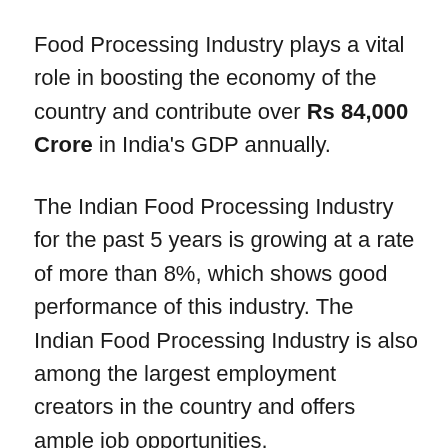Food Processing Industry plays a vital role in boosting the economy of the country and contribute over Rs 84,000 Crore in India's GDP annually.
The Indian Food Processing Industry for the past 5 years is growing at a rate of more than 8%, which shows good performance of this industry. The Indian Food Processing Industry is also among the largest employment creators in the country and offers ample job opportunities.
India is the second most populated country in the world and there is always a huge demand of food. The demand for food is increasing with increase in population, which has led to the entry of many